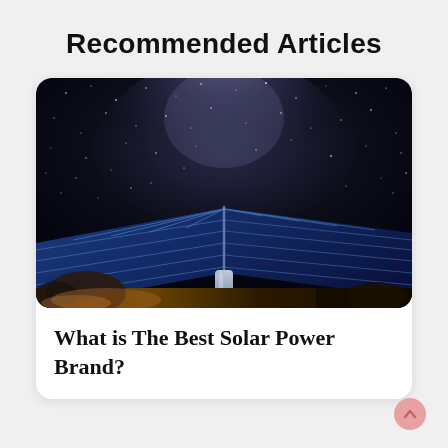Recommended Articles
[Figure (photo): Solar panels photographed from below against a starry night sky with the Milky Way visible. The panels are tilted upward on a metal mount, with trees and warm ambient light visible at the base.]
What is The Best Solar Power Brand?